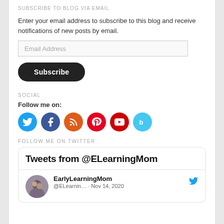SUBSCRIBE TO BLOG VIA EMAIL
Enter your email address to subscribe to this blog and receive notifications of new posts by email.
SOCIAL
Follow me on:
[Figure (infographic): Six social media icon buttons: Twitter (blue), Facebook (dark blue), RSS feed (orange), Pinterest (red), YouTube (red), Bloglovin (light blue)]
FOLLOW ME ON TWITTER
Tweets from @ELearningMom
EarlyLearningMom @ELearnin… · Nov 14, 2020